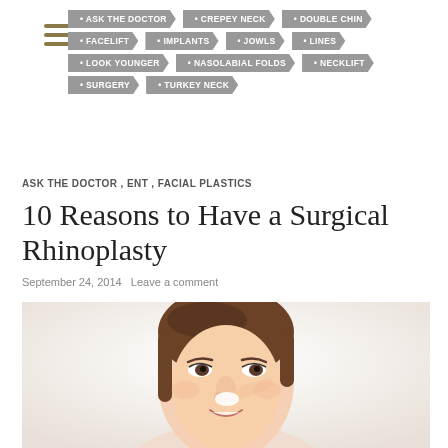[Figure (illustration): Hamburger menu icon with three horizontal dark gold/olive bars]
• ASK THE DOCTOR • CREPEY NECK • DOUBLE CHIN • FACELIFT • IMPLANTS • JOWLS • LINES • LOOK YOUNGER • NASOLABIAL FOLDS • NECKLIFT • SURGERY • TURKEY NECK
ASK THE DOCTOR , ENT , FACIAL PLASTICS
10 Reasons to Have a Surgical Rhinoplasty
September 24, 2014   Leave a comment
[Figure (photo): Young woman with brown hair smiling and pointing at her nose against a white background]